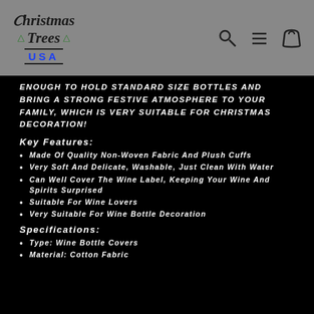Christmas Trees USA
enough to hold standard size bottles and bring a strong festive atmosphere to your family, which is very suitable for Christmas decoration!
Key Features:
Made of quality non-woven fabric and plush cuffs
Very soft and delicate, washable, just clean with water
Can well cover the wine label, keeping your wine and spirits surprised
Suitable for wine lovers
Very suitable for wine bottle decoration
Specifications:
Type: Wine Bottle Covers
Material: Cotton fabric